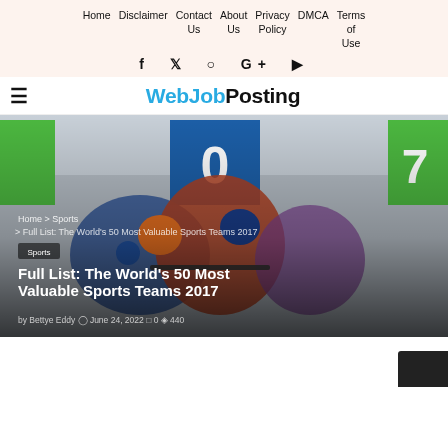Home | Disclaimer | Contact Us | About Us | Privacy Policy | DMCA | Terms of Use
Social icons: f  twitter  instagram  G+  youtube
WebJobPosting (hamburger menu)
[Figure (photo): Sports photo of biathlon athletes competing, with numbered starting gates (blue '0' and green '7') and colorful uniforms; used as hero image for article]
Home > Sports > Full List: The World's 50 Most Valuable Sports Teams 2017
Sports
Full List: The World's 50 Most Valuable Sports Teams 2017
by Bettye Eddy  June 24, 2022  0  440